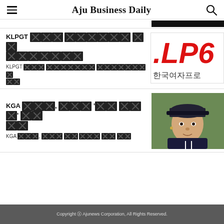Aju Business Daily
[Figure (other): Black bar image placeholder at top right]
KLPGT [redacted] [redacted] [redacted]
KLPGT [redacted] [redacted] [redacted]
[Figure (logo): KLPGA logo with Korean text: LPG and 한국여자프로]
KGA [redacted], [redacted] '[redacted] [redacted]' [redacted] [redacted]
KGA [redacted], [redacted] [redacted] [redacted] [redacted] [redacted]
[Figure (photo): Korean female golfer wearing dark navy polo shirt and cap]
Copyright © Ajunews Corporation, All Rights Reserved.